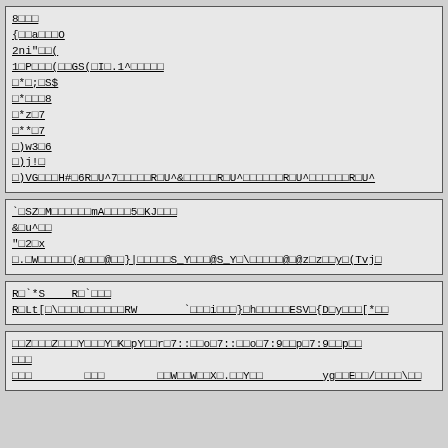8□□□
{□□a□□□O
2ni"□□(
1□P□□□(□□GS(□I□.1^□□□□□
□*□;□S$
□*□□□8
□*z□7
□**□7
□)w3□6
□)j!□
□)VG□□□H#□6R□U^7□□□□□R□U^&□□□□□R□U^□□□□□□R□U^□□□□□□R□U^
`□SZ□M□□□□□□mA□□□□5□KJ□□□
&□u^□□
"□2□x
□.□W□□□□(a□□□@□□}|□□□□□S_Y□□□@S_Y□\□□□□□@□@z□z□□y□(Tvj□
R□`*S□□R□`□□□
R□Lt[□\□□□L□□□□□□RW□□□□□`□□□i□□□}□h□□□□□ESV□{D□y□□□[*□□
□□Z□□□Z□□□Y□□□Y□K□pY□□r□7::□□o□7::□□o□7:9□□p□7:9□□p□□
□□□
□□□□□□□□□□□□□□W□□W□□X□.□□Y□□□□□□□□□yg□□E□□/□□□□\□□